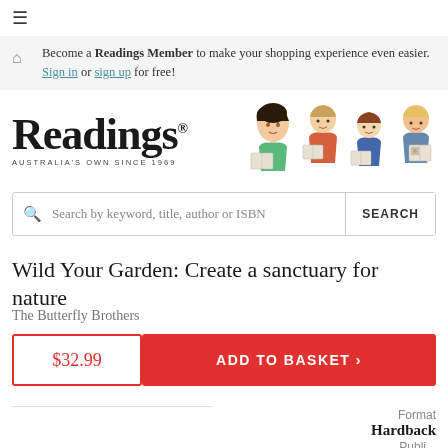☰
Become a Readings Member to make your shopping experience even easier. Sign in or sign up for free!
[Figure (logo): Readings Australia's Own Since 1969 logo with illustrated characters reading books]
Search by keyword, title, author or ISBN  SEARCH
Wild Your Garden: Create a sanctuary for nature
The Butterfly Brothers
$32.99
ADD TO BASKET ›
Format
Hardback
Publi...